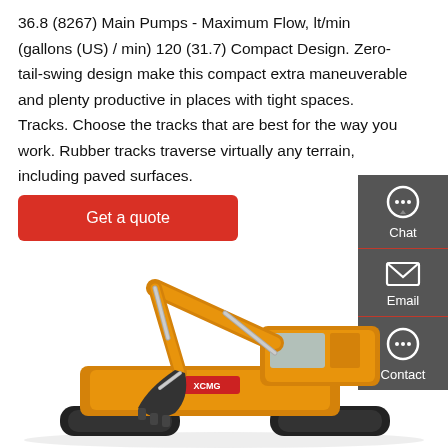36.8 (8267) Main Pumps - Maximum Flow, lt/min (gallons (US) / min) 120 (31.7) Compact Design. Zero-tail-swing design make this compact extra maneuverable and plenty productive in places with tight spaces. Tracks. Choose the tracks that are best for the way you work. Rubber tracks traverse virtually any terrain, including paved surfaces.
Get a quote
[Figure (other): Sidebar with Chat, Email, and Contact icons on a dark grey background]
[Figure (photo): Yellow XCMG excavator with boom and arm extended, black tracks, cab visible on right side]